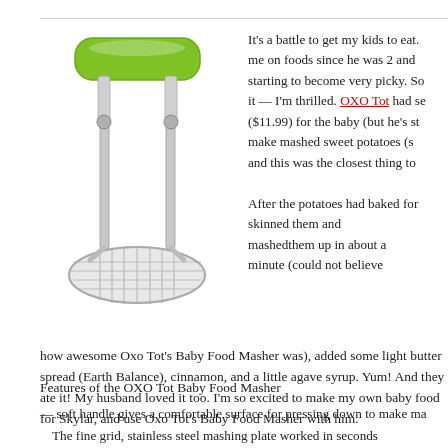[Figure (illustration): OXO Tot Baby Food Masher with green soft handle and stainless steel grid mashing plate]
It's a battle to get my kids to eat. me on foods since he was 2 and starting to become very picky. So it — I'm thrilled. OXO Tot had se ($11.99) for the baby (but he's st make mashed sweet potatoes (s and this was the closest thing to
After the potatoes had baked for skinned them and mashedthem up in about a minute (could not believe how awesome Oxo Tot's Baby Food Masher was), added some light butter spread (Earth Balance), cinnamon, and a little agave syrup. Yum! And they ate it! My husband loved it too. I'm so excited to make my own baby food for Skylar, and use Oxo Tot's Baby Food Masher with him.
Features of the OXO Tot Baby Food Masher
— soft handle gives a comfortable surface for pressing down to make ma
The fine grid, stainless steel mashing plate worked in seconds